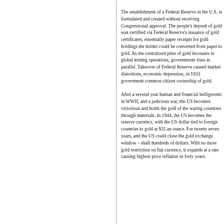The establishment of a Federal Reserve in the U.S. is formulated and created without receiving Congressional approval. The people's deposit of gold was certified via Federal Reserve's issuance of gold certificates, essentially paper receipts for gold holdings the holder could be converted from paper to gold. As the centralized piles of gold increases in global mining operations, governments rises in parallel. Takeover of Federal Reserve caused market distortions, economic depression, in 1933 government common citizen ownership of gold.
After a several year human and financial belligerents in WWII, and a judicious war, the US becomes victorious and holds the gold of the waring countries through materials. In 1944, the US becomes the reserve currency, with the US dollar tied to foreign countries to gold at $35 an ounce. For twenty seven years, and the US could close the gold exchange window – shaft hundreds of dollars. With no more gold restriction on fiat currency, it expands at a rate causing highest price inflation in forty years.